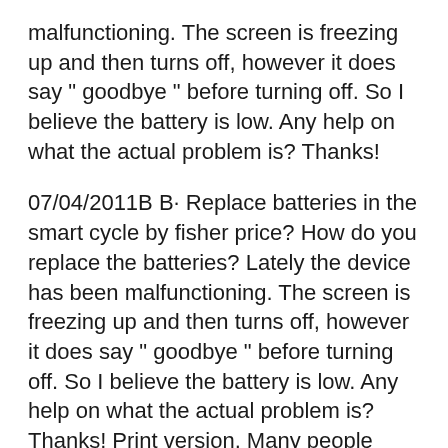malfunctioning. The screen is freezing up and then turns off, however it does say " goodbye " before turning off. So I believe the battery is low. Any help on what the actual problem is? Thanks!
07/04/2011B B· Replace batteries in the smart cycle by fisher price? How do you replace the batteries? Lately the device has been malfunctioning. The screen is freezing up and then turns off, however it does say " goodbye " before turning off. So I believe the battery is low. Any help on what the actual problem is? Thanks! Print version. Many people prefer to read the documents not on the screen, but in the printed version. The option to print the manual has also been provided, and you can use it by clicking the